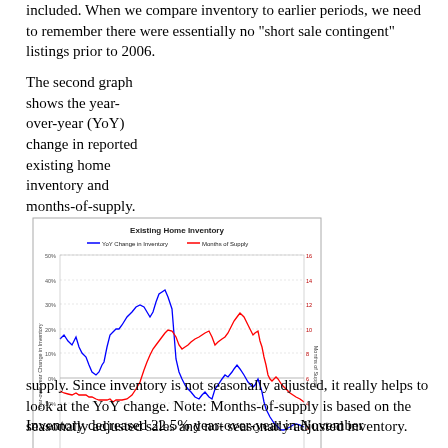included. When we compare inventory to earlier periods, we need to remember there were essentially no "short sale contingent" listings prior to 2006.
The second graph shows the year-over-year (YoY) change in reported existing home inventory and months-of-supply. Since inventory is not seasonally adjusted, it really helps to look at the YoY change. Note: Months-of-supply is based on the seasonally adjusted sales and not seasonally adjusted inventory.
[Figure (line-chart): Dual-axis line chart showing YoY Change in Inventory (blue line) and Months of Supply (red line) from Jan-02 to Jan-14. Blue line peaks near 40% around 2006 and drops to about -25% by Jan-13. Red line peaks near 12-13 months around 2008 and 2011.]
Inventory decreased 22.5% year-over-year in November